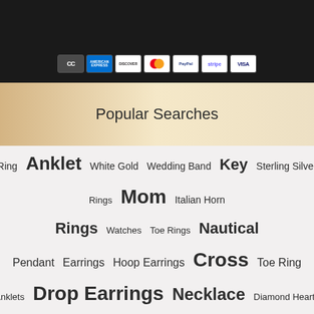[Figure (other): Payment method icons: CC, American Express, Discover, Mastercard, PayPal, Stripe, Visa]
Popular Searches
Ring  Anklet  White Gold  Wedding Band  Key  Sterling Silver
Rings  Mom  Italian Horn
Rings  Watches  Toe Rings  Nautical
Pendant  Earrings  Hoop Earrings  Cross  Toe Ring
Anklets  Drop Earrings  Necklace  Diamond Hearts